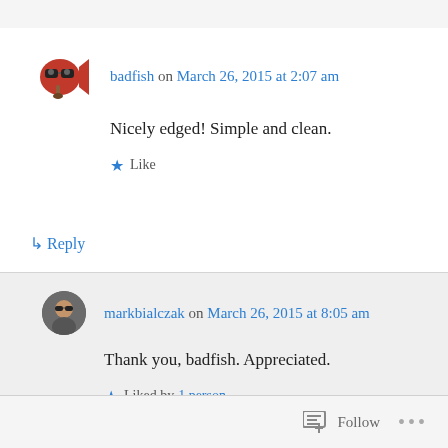badfish on March 26, 2015 at 2:07 am
Nicely edged! Simple and clean.
Like
↳ Reply
markbialczak on March 26, 2015 at 8:05 am
Thank you, badfish. Appreciated.
Liked by 1 person
↳ Reply
Follow